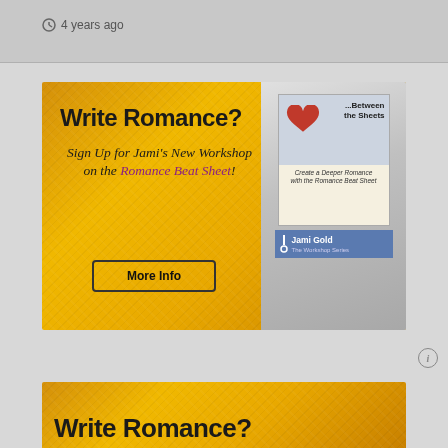4 years ago
[Figure (illustration): Advertisement banner for Jami Gold's Romance Beat Sheet workshop on a gold textured background. Shows text 'Write Romance? Sign Up for Jami's New Workshop on the Romance Beat Sheet!' with a 'More Info' button and a book cover image.]
[Figure (illustration): Partial view of a second identical advertisement banner showing 'Write Romance?' text on gold textured background.]